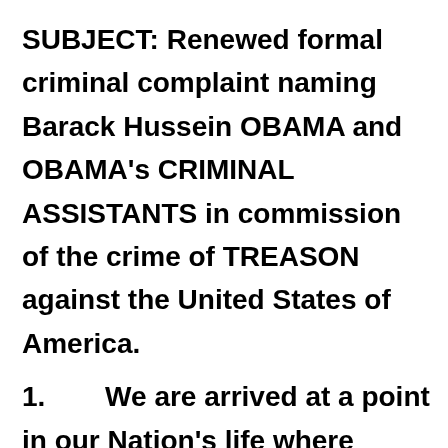SUBJECT: Renewed formal criminal complaint naming Barack Hussein OBAMA and OBAMA's CRIMINAL ASSISTANTS in commission of the crime of TREASON against the United States of America.
1.     We are arrived at a point in our Nation's life where Barack Hussein OBAMA and OBAMA's CRIMINAL